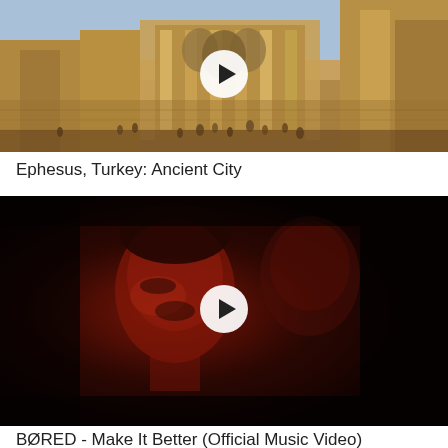[Figure (photo): Video thumbnail of Ephesus ancient ruins in Turkey with a white play button overlay in the center. Stone columns and arches visible with tourists.]
Ephesus, Turkey: Ancient City
[Figure (photo): Video thumbnail of a dark, red-toned music video scene showing a person's face illuminated in red light, with a white play button overlay in the center.]
BØRED - Make It Better (Official Music Video)